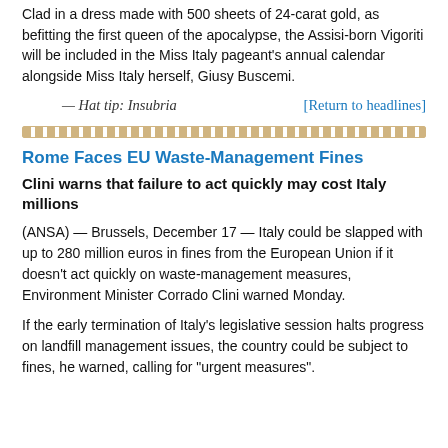Clad in a dress made with 500 sheets of 24-carat gold, as befitting the first queen of the apocalypse, the Assisi-born Vigoriti will be included in the Miss Italy pageant's annual calendar alongside Miss Italy herself, Giusy Buscemi.
— Hat tip: Insubria    [Return to headlines]
[Figure (other): Decorative horizontal divider line with dashed/ornamental style in brown/gold color]
Rome Faces EU Waste-Management Fines
Clini warns that failure to act quickly may cost Italy millions
(ANSA) — Brussels, December 17 — Italy could be slapped with up to 280 million euros in fines from the European Union if it doesn't act quickly on waste-management measures, Environment Minister Corrado Clini warned Monday.
If the early termination of Italy's legislative session halts progress on landfill management issues, the country could be subject to fines, he warned, calling for "urgent measures".